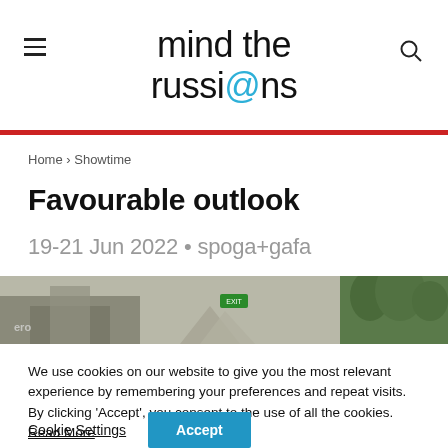mind the russi@ns
Home › Showtime
Favourable outlook
19-21 Jun 2022 • spoga+gafa
[Figure (photo): Wide banner photo of an outdoor/indoor exhibition space with plants and building structures]
We use cookies on our website to give you the most relevant experience by remembering your preferences and repeat visits. By clicking 'Accept', you consent to the use of all the cookies. Read More
Cookie Settings    Accept